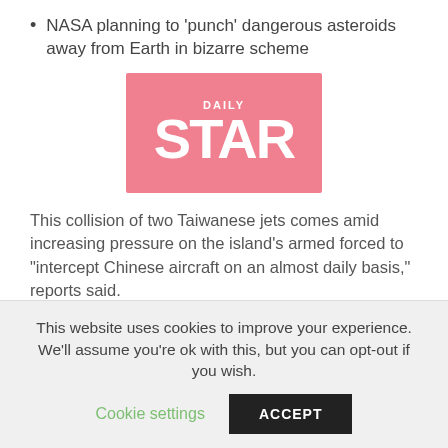NASA planning to 'punch' dangerous asteroids away from Earth in bizarre scheme
[Figure (logo): Daily Star newspaper logo — pink/salmon background with white text reading 'DAILY' above large 'STAR']
This collision of two Taiwanese jets comes amid increasing pressure on the island's armed forced to "intercept Chinese aircraft on an almost daily basis," reports said.
Reuters said last January: "Taiwan's top military official was among eight people killed after a helicopter carrying them to visit soldiers crashed in a mountainous area near the capital Taipei.
This website uses cookies to improve your experience. We'll assume you're ok with this, but you can opt-out if you wish.